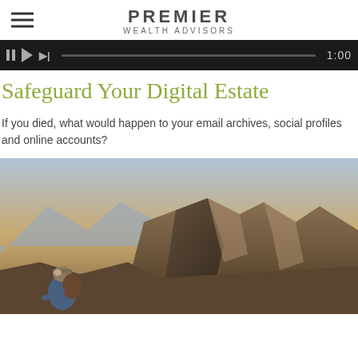PREMIER WEALTH ADVISORS
[Figure (screenshot): Video player bar with pause, play, skip controls and timestamp showing 1:00]
Safeguard Your Digital Estate
If you died, what would happen to your email archives, social profiles and online accounts?
[Figure (photo): A hiker with a backpack sitting on a rocky mountain ridge, looking up at dramatic rocky peaks in warm sunset light.]